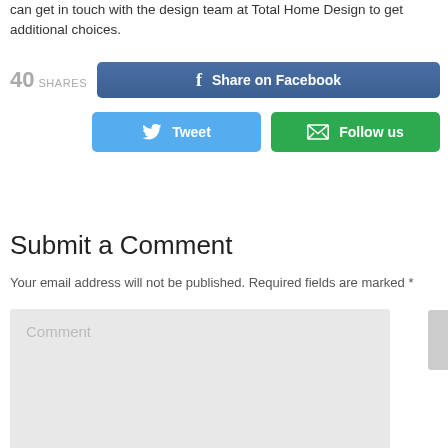can get in touch with the design team at Total Home Design to get additional choices.
40 SHARES  Share on Facebook  Tweet  Follow us
Submit a Comment
Your email address will not be published. Required fields are marked *
Comment